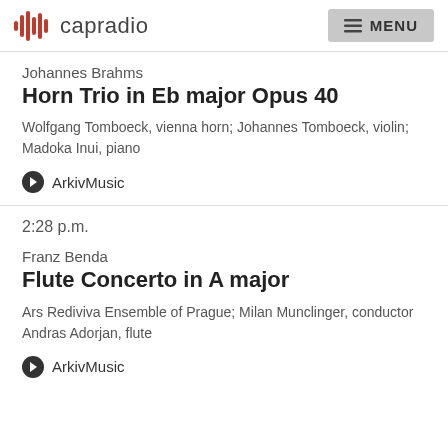capradio  MENU
Johannes Brahms
Horn Trio in Eb major Opus 40
Wolfgang Tomboeck, vienna horn; Johannes Tomboeck, violin; Madoka Inui, piano
ArkivMusic
2:28 p.m.
Franz Benda
Flute Concerto in A major
Ars Rediviva Ensemble of Prague; Milan Munclinger, conductor Andras Adorjan, flute
ArkivMusic